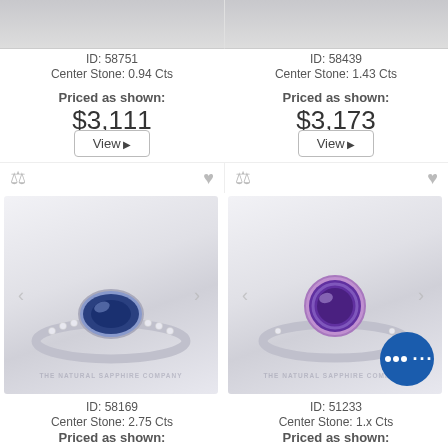[Figure (photo): Top portion of two jewelry ring product cards, showing cropped images at top]
ID: 58751
Center Stone: 0.94 Cts
Priced as shown:
$3,111
View
ID: 58439
Center Stone: 1.43 Cts
Priced as shown:
$3,173
View
[Figure (photo): Blue sapphire oval ring with diamond pave band, The Natural Sapphire Company watermark]
ID: 58169
Center Stone: 2.75 Cts
Priced as shown:
[Figure (photo): Purple/amethyst round solitaire ring with diamond accents, The Natural Sapphire Company watermark, with chat bubble overlay]
ID: 51233
Center Stone: 1.x Cts
Priced as shown: